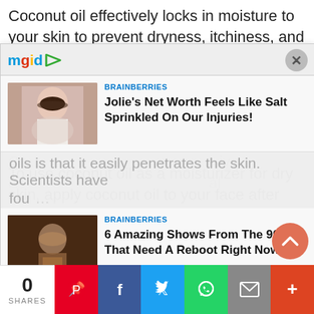Coconut oil effectively locks in moisture to your skin to prevent dryness, itchiness, and scaling.2
[Figure (screenshot): MGID ad widget overlay showing two sponsored content cards: 1) BRAINBERRIES - Jolie's Net Worth Feels Like Salt Sprinkled On Our Injuries! with photo of woman; 2) BRAINBERRIES - 6 Amazing Shows From The 90s That Need A Reboot Right Now with photo of woman in dark setting. Widget has mgid logo and X close button at top.]
To use coconut oil as a moisturizer for dry skin, apply coconut oil to your face after every time you wa...
This is what you should do:
[Figure (infographic): Social share bar at bottom: 0 SHARES count, then Pinterest (red), Facebook (dark blue), Twitter (light blue), WhatsApp (green), Email (gray), More (orange-red) buttons]